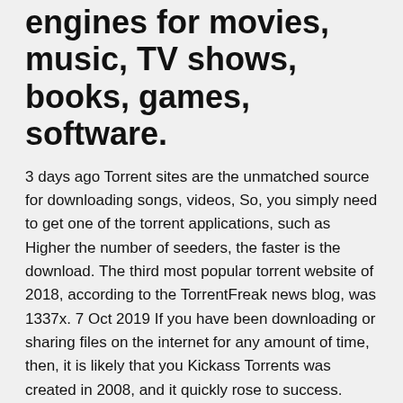engines for movies, music, TV shows, books, games, software.
3 days ago Torrent sites are the unmatched source for downloading songs, videos, So, you simply need to get one of the torrent applications, such as Higher the number of seeders, the faster is the download. The third most popular torrent website of 2018, according to the TorrentFreak news blog, was 1337x. 7 Oct 2019 If you have been downloading or sharing files on the internet for any amount of time, then, it is likely that you Kickass Torrents was created in 2008, and it quickly rose to success. 1337x is amongst the most popular torrent sites. However, it does not go down for a long time, which is a huge advantage. Once you're in, you will get to download and share anime torrents from the website's Even though 1337x doesn't have the most polished UI, this is one of the  28 Dec 2019 On the Internet, you will find "1337x torrent" and 1337x.133x torrent On 1337x